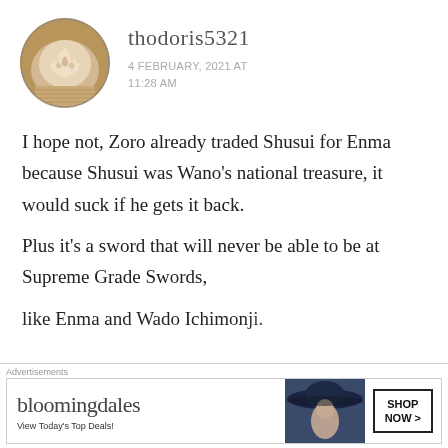[Figure (photo): Circular avatar photo of a latte coffee with latte art on top]
thodoris5321
4 FEBRUARY, 2021 AT 11:28 AM
I hope not, Zoro already traded Shusui for Enma because Shusui was Wano’s national treasure, it would suck if he gets it back.
Plus it’s a sword that will never be able to be at Supreme Grade Swords,
[Figure (screenshot): Bloomingdale’s advertisement banner: bloomingdales logo, ‘View Today’s Top Deals!’, woman in wide-brim hat, SHOP NOW > button]
Advertisements